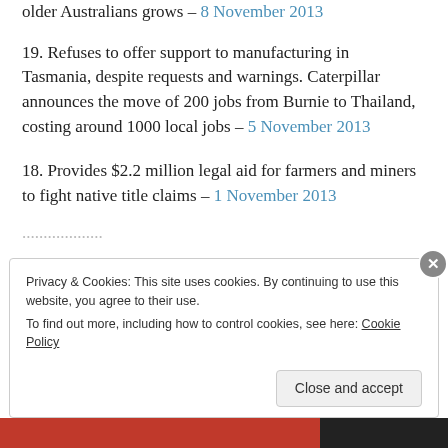older Australians grows – 8 November 2013
19. Refuses to offer support to manufacturing in Tasmania, despite requests and warnings. Caterpillar announces the move of 200 jobs from Burnie to Thailand, costing around 1000 local jobs – 5 November 2013
18. Provides $2.2 million legal aid for farmers and miners to fight native title claims – 1 November 2013
[partial text cut off at bottom]
Privacy & Cookies: This site uses cookies. By continuing to use this website, you agree to their use. To find out more, including how to control cookies, see here: Cookie Policy
Close and accept